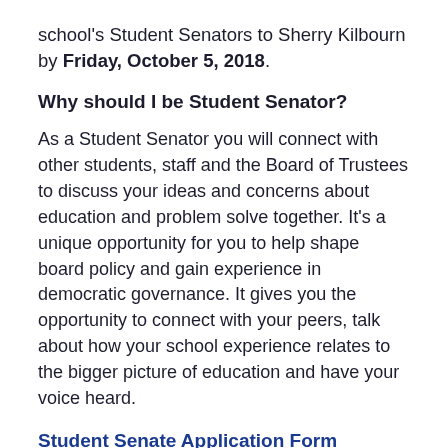school's Student Senators to Sherry Kilbourn by Friday, October 5, 2018.
Why should I be Student Senator?
As a Student Senator you will connect with other students, staff and the Board of Trustees to discuss your ideas and concerns about education and problem solve together. It's a unique opportunity for you to help shape board policy and gain experience in democratic governance. It gives you the opportunity to connect with your peers, talk about how your school experience relates to the bigger picture of education and have your voice heard.
Student Senate Application Form
Interested? Talk to your principal before